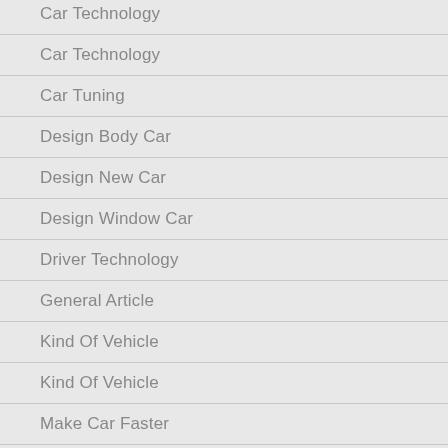Car Technology
Car Technology
Car Tuning
Design Body Car
Design New Car
Design Window Car
Driver Technology
General Article
Kind Of Vehicle
Kind Of Vehicle
Make Car Faster